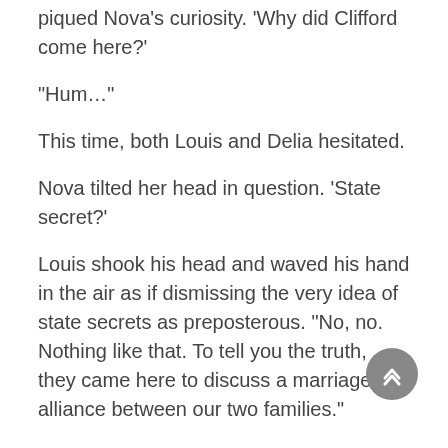piqued Nova's curiosity. 'Why did Clifford come here?'
“Hum…”
This time, both Louis and Delia hesitated.
Nova tilted her head in question. ‘State secret?’
Louis shook his head and waved his hand in the air as if dismissing the very idea of state secrets as preposterous. “No, no. Nothing like that. To tell you the truth, they came here to discuss a marriage alliance between our two families.”
Marriage alliance? With this incredible jackass? You’ve got to be kidding me. Who in their right mind would ever agree to such a thing? That’d be like feeding a sheep to a wolf.
Nova’s gaze flicked back and forth between Louis and Delia. The two didn’t say anything more, seemingly